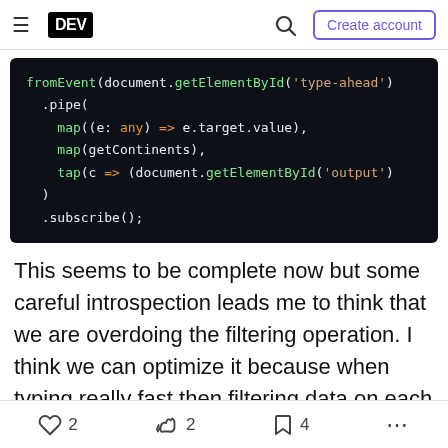DEV | Create account
[Figure (screenshot): Code block with dark background showing JavaScript/RxJS code with syntax highlighting: fromEvent, pipe, map, tap, subscribe methods]
This seems to be complete now but some careful introspection leads me to think that we are overdoing the filtering operation. I think we can optimize it because when typing really fast then filtering data on each keypress is not optimal and filtering data when the actual data do not change is also not optimal like
2  2  4  ...